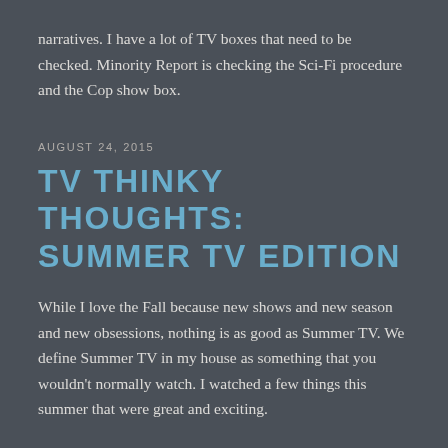narratives. I have a lot of TV boxes that need to be checked. Minority Report is checking the Sci-Fi procedure and the Cop show box.
AUGUST 24, 2015
TV THINKY THOUGHTS: SUMMER TV EDITION
While I love the Fall because new shows and new season and new obsessions, nothing is as good as Summer TV. We define Summer TV in my house as something that you wouldn't normally watch. I watched a few things this summer that were great and exciting.